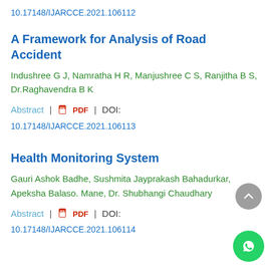10.17148/IJARCCE.2021.106112
A Framework for Analysis of Road Accident
Indushree G J, Namratha H R, Manjushree C S, Ranjitha B S, Dr.Raghavendra B K
Abstract | PDF | DOI: 10.17148/IJARCCE.2021.106113
Health Monitoring System
Gauri Ashok Badhe, Sushmita Jayprakash Bahadurkar, Apeksha Balaso. Mane, Dr. Shubhangi Chaudhary
Abstract | PDF | DOI: 10.17148/IJARCCE.2021.106114